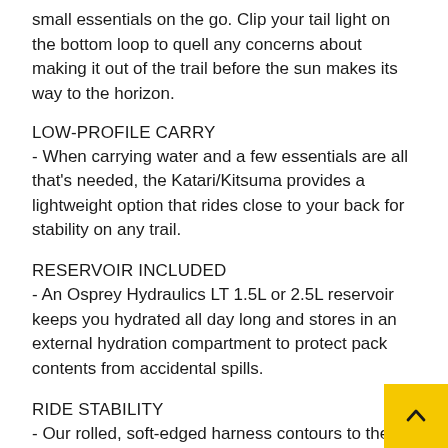small essentials on the go. Clip your tail light on the bottom loop to quell any concerns about making it out of the trail before the sun makes its way to the horizon.
LOW-PROFILE CARRY
- When carrying water and a few essentials are all that's needed, the Katari/Kitsuma provides a lightweight option that rides close to your back for stability on any trail.
RESERVOIR INCLUDED
- An Osprey Hydraulics LT 1.5L or 2.5L reservoir keeps you hydrated all day long and stores in an external hydration compartment to protect pack contents from accidental spills.
RIDE STABILITY
- Our rolled, soft-edged harness contours to the upper shoulders to keep the pack close to your body and pro stability.